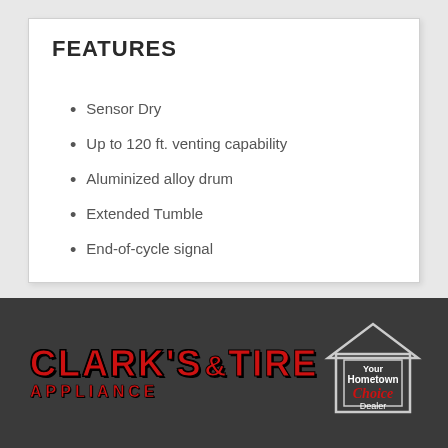FEATURES
Sensor Dry
Up to 120 ft. venting capability
Aluminized alloy drum
Extended Tumble
End-of-cycle signal
[Figure (logo): Clark's Appliance & Tire logo in red bold text on dark background, with Your Hometown Choice Dealer badge on the right]